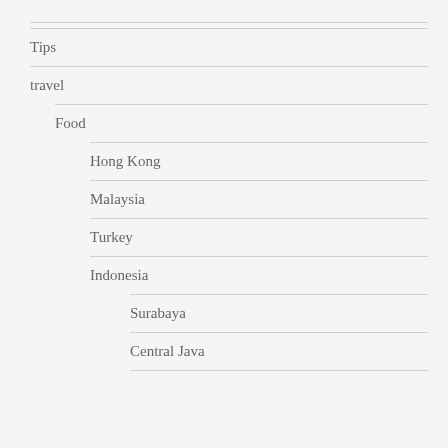Tips
travel
Food
Hong Kong
Malaysia
Turkey
Indonesia
Surabaya
Central Java